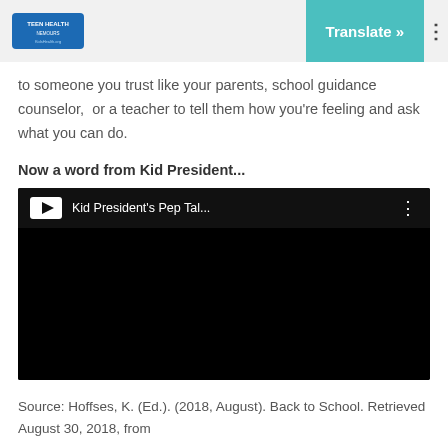Teen Health | Translate »
to someone you trust like your parents, school guidance counselor,  or a teacher to tell them how you're feeling and ask what you can do.
Now a word from Kid President...
[Figure (screenshot): Embedded YouTube video player showing 'Kid President's Pep Tal...' with a dark/black video area and YouTube icon]
Source: Hoffses, K. (Ed.). (2018, August). Back to School. Retrieved August 30, 2018, from